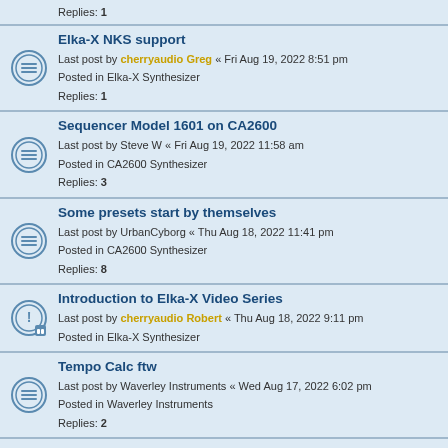Replies: 1
Elka-X NKS support
Last post by cherryaudio Greg « Fri Aug 19, 2022 8:51 pm
Posted in Elka-X Synthesizer
Replies: 1
Sequencer Model 1601 on CA2600
Last post by Steve W « Fri Aug 19, 2022 11:58 am
Posted in CA2600 Synthesizer
Replies: 3
Some presets start by themselves
Last post by UrbanCyborg « Thu Aug 18, 2022 11:41 pm
Posted in CA2600 Synthesizer
Replies: 8
Introduction to Elka-X Video Series
Last post by cherryaudio Robert « Thu Aug 18, 2022 9:11 pm
Posted in Elka-X Synthesizer
Tempo Calc ftw
Last post by Waverley Instruments « Wed Aug 17, 2022 6:02 pm
Posted in Waverley Instruments
Replies: 2
THREE FREEBIES!
Last post by Waverley Instruments « Wed Aug 17, 2022 9:56 am
Posted in Waverley Instruments
Granular Synth updated to build #106
Last post by ColinP « Tue Aug 16, 2022 9:44 pm
Posted in Adroit Synthesis
Feature request: Mutate, randomize selection(s)
Last post by Steve W « Tue Aug 16, 2022 8:16 pm